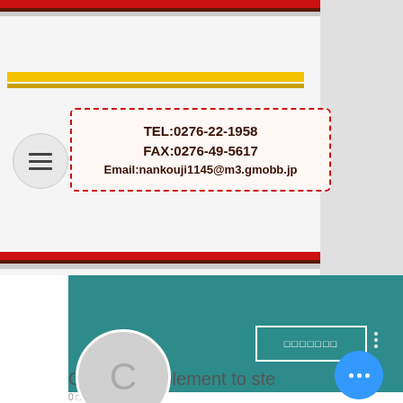[Figure (screenshot): Top portion of a Japanese website header with red and dark horizontal stripes at top and bottom, yellow horizontal lines in middle area, a hamburger menu circle on the left, and a contact information box with dashed red border containing TEL, FAX, and Email details]
TEL:0276-22-1958
FAX:0276-49-5617
Email:nankouji1145@m3.gmobb.jp
[Figure (screenshot): Bottom portion showing a teal Google+ style channel page header with profile circle showing letter C, a bordered button with Japanese text, three-dot menu, and channel title 'Closest supplement to ste...' with subscriber counts]
Closest supplement to ste
0 □□□□□ • 0 □□□□□